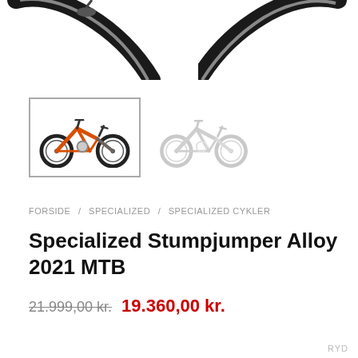[Figure (photo): Partial view of two mountain bike wheels/frames cropped at top of page]
[Figure (photo): Thumbnail gallery: first thumbnail shows orange Specialized Stumpjumper MTB (selected with border), second thumbnail shows gray/outline version of same bike]
FORSIDE / SPECIALIZED / SPECIALIZED CYKLER
Specialized Stumpjumper Alloy 2021 MTB
21.999,00 kr.  19.360,00 kr.
RYD